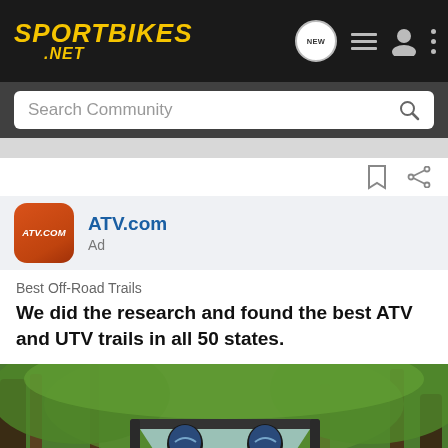Sportbikes .NET
Search Community
ATV.com
Ad
Best Off-Road Trails
We did the research and found the best ATV and UTV trails in all 50 states.
[Figure (photo): UTV/side-by-side vehicle with two riders driving through a green wooded forest trail]